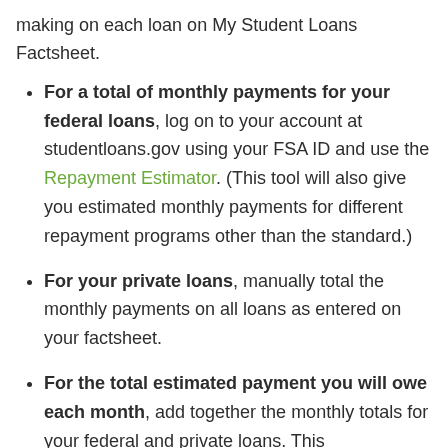making on each loan on My Student Loans Factsheet.
For a total of monthly payments for your federal loans, log on to your account at studentloans.gov using your FSA ID and use the Repayment Estimator. (This tool will also give you estimated monthly payments for different repayment programs other than the standard.)
For your private loans, manually total the monthly payments on all loans as entered on your factsheet.
For the total estimated payment you will owe each month, add together the monthly totals for your federal and private loans. This